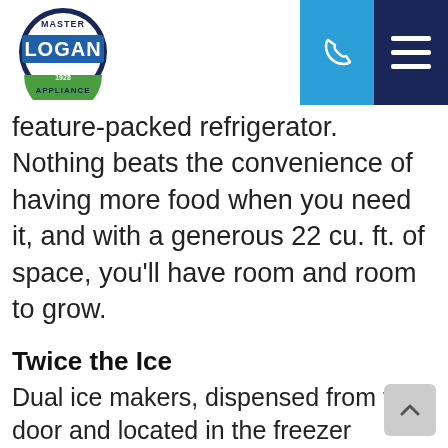Logan Appliance - Master Logan Since 1928 Appliance
feature-packed refrigerator. Nothing beats the convenience of having more food when you need it, and with a generous 22 cu. ft. of space, you'll have room and room to grow.
Twice the Ice
Dual ice makers, dispensed from the door and located in the freezer compartment, produce large amounts of ice so you never run out. This extra ice storage helps ensure that you have extra ice on hand for those hot summer days or when entertaining large parties.
Stylish Design You Can't Wait to Get Your Hands On